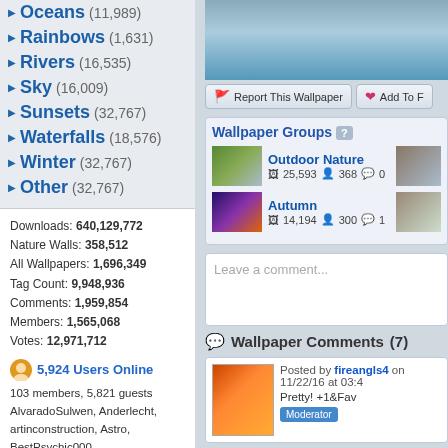Mountains (31,707)
Oceans (11,989)
Rainbows (1,631)
Rivers (16,535)
Sky (16,009)
Sunsets (32,767)
Waterfalls (18,576)
Winter (32,767)
Other (32,767)
Downloads: 640,129,772
Nature Walls: 358,512
All Wallpapers: 1,696,349
Tag Count: 9,948,936
Comments: 1,959,854
Members: 1,565,068
Votes: 12,971,712
5,924 Users Online
103 members, 5,821 guests
AlvaradoSulwen, Anderlecht, artinconstruction, Astro, BestPsychic000, bmpressurewashing2, Boatent98, boliou, brandbajade, bridgecounseling, brighterfinance, CarrollDentistry, cell-phone-hacking, chatonfragile, Cleaners567, ColbyRichardson, cortez68341, crypticpixelseo, cupidc657, deborahhinkley, doyleplumbinggroup, driverjoe, duanvinhomescom, dubmovie, enailvietnam, erahobb,
[Figure (photo): Nature wallpaper with sky and trees]
Report This Wallpaper  Add To F...
Wallpaper Groups
[Figure (photo): Outdoor Nature group thumbnail - trees and nature]
Outdoor Nature
25,593  368  0
[Figure (photo): Autumn group thumbnail - purple/orange halloween]
Autumn
14,194  300  1
Leave a comment...
Wallpaper Comments (7)
[Figure (photo): User avatar - woman with red/orange hair]
Posted by fireangls4 on 11/22/16 at 03:4...
Pretty! +1&Fav
Moderator